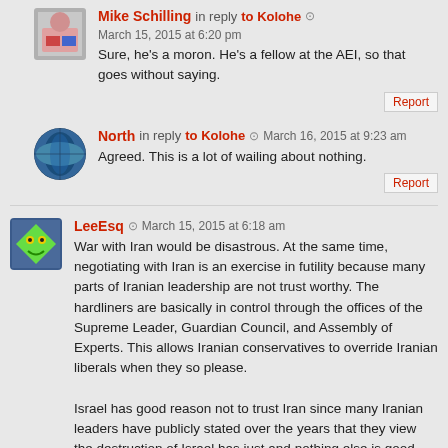Mike Schilling in reply to Kolohe  March 15, 2015 at 6:20 pm
Sure, he's a moron. He's a fellow at the AEI, so that goes without saying.
North in reply to Kolohe  March 16, 2015 at 9:23 am
Agreed. This is a lot of wailing about nothing.
LeeEsq  March 15, 2015 at 6:18 am
War with Iran would be disastrous. At the same time, negotiating with Iran is an exercise in futility because many parts of Iranian leadership are not trust worthy. The hardliners are basically in control through the offices of the Supreme Leader, Guardian Council, and Assembly of Experts. This allows Iranian conservatives to override Iranian liberals when they so please.

Israel has good reason not to trust Iran since many Iranian leaders have publicly stated over the years that they view the destruction of Israel has just and nothing else is good enough:

http://www.theatlantic.com/international/archive/2015/03/Iranian-View-of-Israel/387385/